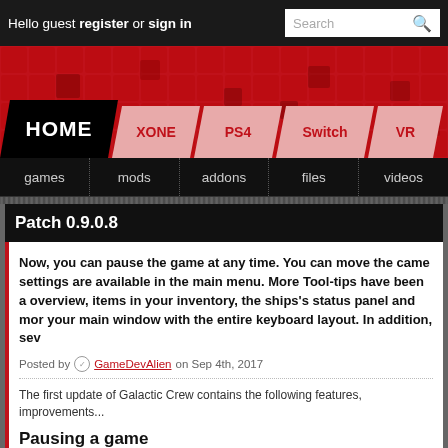Hello guest register or sign in | Search
[Figure (screenshot): Red banner with grid pattern and navigation tabs: HOME, XONE, PS4, Switch, VR]
games | mods | addons | files | videos
Patch 0.9.0.8
Now, you can pause the game at any time. You can move the came settings are available in the main menu. More Tool-tips have been a overview, items in your inventory, the ships's status panel and mor your main window with the entire keyboard layout. In addition, sev
Posted by GameDevAlien on Sep 4th, 2017
The first update of Galactic Crew contains the following features, improvements...
Pausing a game
By pressing the 'Space' key you can pause the game at any time. While the ga